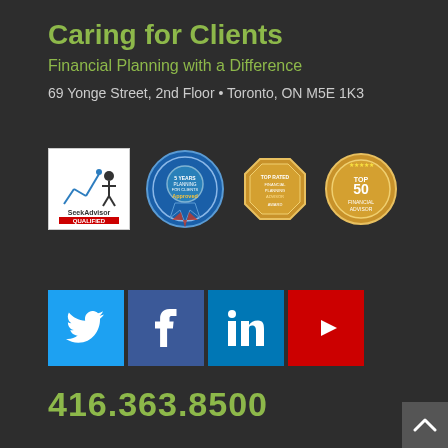Caring for Clients
Financial Planning with a Difference
69 Yonge Street, 2nd Floor • Toronto, ON M5E 1K3
[Figure (logo): Four certification/award badges: SeekAdvisor Qualified badge (white square), blue medallion award badge, gold octagonal award badge, gold circular top 50 award badge]
[Figure (infographic): Social media icon buttons: Twitter (light blue), Facebook (dark blue), LinkedIn (blue), YouTube (red)]
416.363.8500